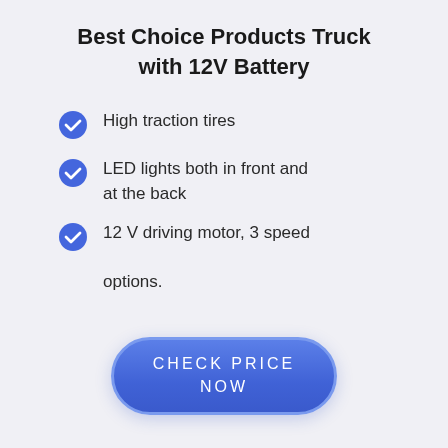Best Choice Products Truck with 12V Battery
High traction tires
LED lights both in front and at the back
12 V driving motor, 3 speed options.
CHECK PRICE NOW